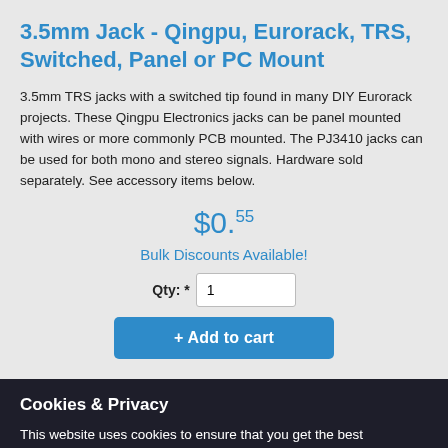3.5mm Jack - Qingpu, Eurorack, TRS, Switched, Panel or PC Mount
3.5mm TRS jacks with a switched tip found in many DIY Eurorack projects. These Qingpu Electronics jacks can be panel mounted with wires or more commonly PCB mounted. The PJ3410 jacks can be used for both mono and stereo signals. Hardware sold separately. See accessory items below.
$0.55
Bulk Discounts Available!
Qty: * 1
+ Add to cart
Cookies & Privacy
This website uses cookies to ensure that you get the best experience. More Information
Accept Cookies
Decline